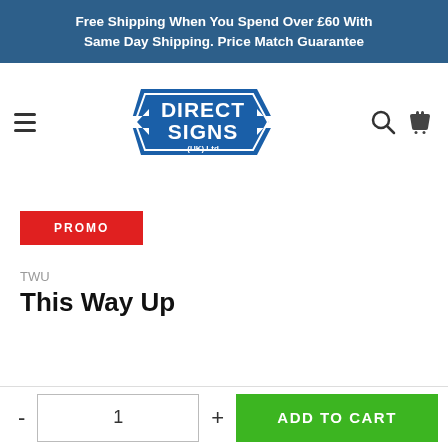Free Shipping When You Spend Over £60 With Same Day Shipping. Price Match Guarantee
[Figure (logo): Direct Signs (UK) Ltd logo — blue shield/arrow shape with white bold text DIRECT SIGNS and (UK) Ltd beneath, with arrow pointing left and right]
TWU
This Way Up
PROMO
ADD TO CART